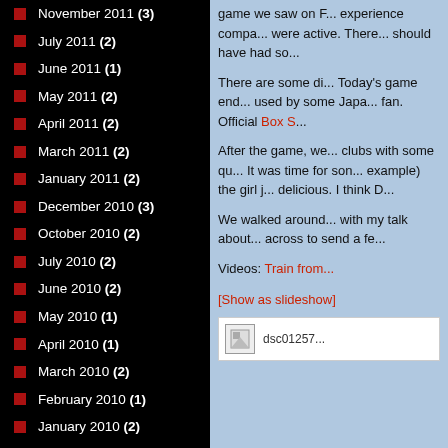November 2011 (3)
July 2011 (2)
June 2011 (1)
May 2011 (2)
April 2011 (2)
March 2011 (2)
January 2011 (2)
December 2010 (3)
October 2010 (2)
July 2010 (2)
June 2010 (2)
May 2010 (1)
April 2010 (1)
March 2010 (2)
February 2010 (1)
January 2010 (2)
December 2009 (6)
November 2009 (2)
game we saw on F... experience compa... were active. There... should have had so...
There are some di... Today's game end... used by some Japa... fan. Official Box S...
After the game, we... clubs with some qu... It was time for son... example) the girl j... delicious. I think D...
We walked around... with my talk about... across to send a fe...
Videos: Train from...
[Show as slideshow]
[Figure (photo): Thumbnail image labeled dsc01257]